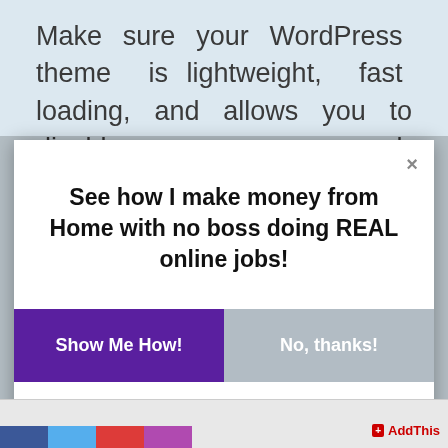Make sure your WordPress theme is lightweight, fast loading, and allows you to disable some unused features that slow down your website.
[Figure (screenshot): A modal/popup overlay with heading 'See how I make money from Home with no boss doing REAL online jobs!' and two buttons: 'Show Me How!' (purple) and 'No, thanks!' (gray). A close X button is in the top right corner.]
See how I make money from Home with no boss doing REAL online jobs!
Show Me How!
No, thanks!
SHARES   AddThis